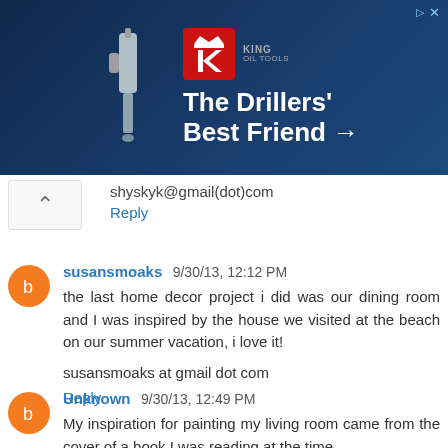[Figure (photo): Advertisement banner for King Oil Tools - 'The Drillers' Best Friend →' with logo on dark blue background]
shyskyk@gmail(dot)com
Reply
susansmoaks 9/30/13, 12:12 PM
the last home decor project i did was our dining room and I was inspired by the house we visited at the beach on our summer vacation, i love it!
susansmoaks at gmail dot com
Reply
Unknown 9/30/13, 12:49 PM
My inspiration for painting my living room came from the cover of a book I was reading at the time